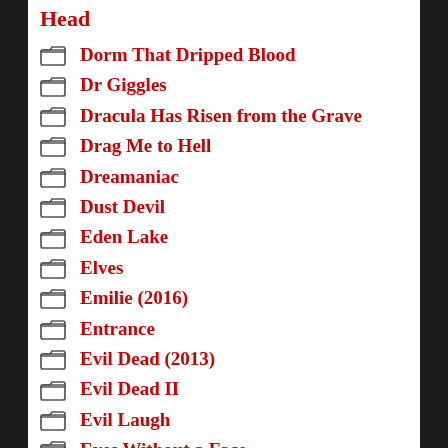Head
Dorm That Dripped Blood
Dr Giggles
Dracula Has Risen from the Grave
Drag Me to Hell
Dreamaniac
Dust Devil
Eden Lake
Elves
Emilie (2016)
Entrance
Evil Dead (2013)
Evil Dead II
Evil Laugh
Eyes Without a Face
Faculty